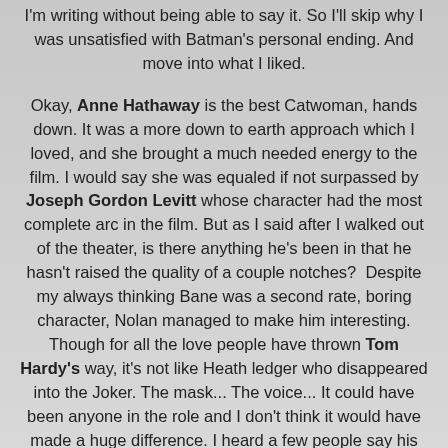I'm writing without being able to say it. So I'll skip why I was unsatisfied with Batman's personal ending. And move into what I liked.
Okay, Anne Hathaway is the best Catwoman, hands down. It was a more down to earth approach which I loved, and she brought a much needed energy to the film. I would say she was equaled if not surpassed by Joseph Gordon Levitt whose character had the most complete arc in the film. But as I said after I walked out of the theater, is there anything he's been in that he hasn't raised the quality of a couple notches?  Despite my always thinking Bane was a second rate, boring character, Nolan managed to make him interesting. Though for all the love people have thrown Tom Hardy's way, it's not like Heath ledger who disappeared into the Joker. The mask... The voice... It could have been anyone in the role and I don't think it would have made a huge difference. I heard a few people say his revamped voice worked, but I just thought it sounded cartoonish and funny.
I did also enjoy the ending in general if only for the fact that